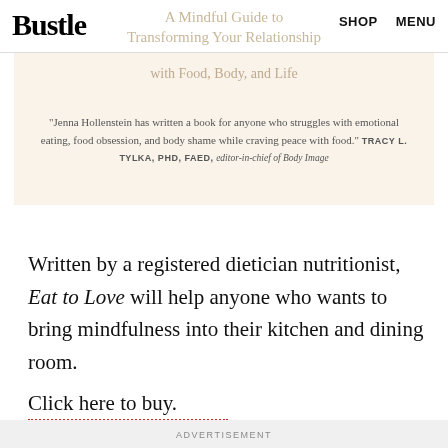Bustle  SHOP  MENU
[Figure (other): Book promo box with cream background showing title 'A Mindful Guide to Transforming Your Relationship with Food, Body, and Life' and a quote from Tracy L. Tylka, PHD, FAED, editor-in-chief of Body Image]
Written by a registered dietician nutritionist, Eat to Love will help anyone who wants to bring mindfulness into their kitchen and dining room.
Click here to buy.